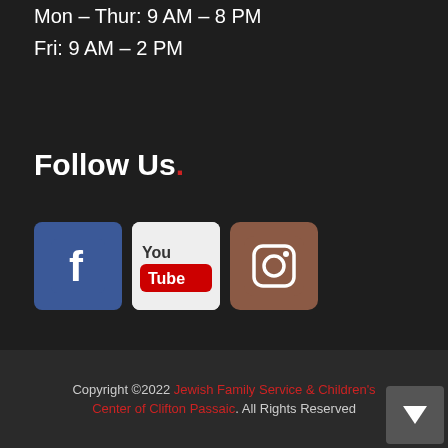Mon – Thur: 9 AM – 8 PM
Fri: 9 AM – 2 PM
Follow Us.
[Figure (illustration): Social media icons: Facebook (blue square with white f), YouTube (white square with red/black YouTube logo), Instagram (brown/tan square with camera icon)]
Copyright ©2022 Jewish Family Service & Children's Center of Clifton Passaic. All Rights Reserved